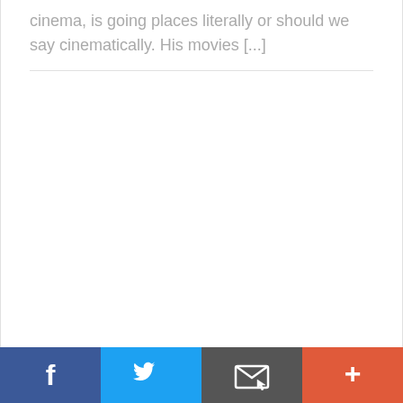cinema, is going places literally or should we say cinematically. His movies [...]
[Figure (other): Social sharing bar with four buttons: Facebook (blue), Twitter (light blue), Email/envelope (dark gray), and More/plus (orange-red)]